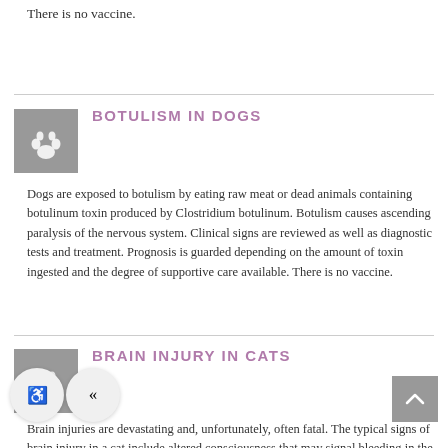There is no vaccine.
BOTULISM IN DOGS
Dogs are exposed to botulism by eating raw meat or dead animals containing botulinum toxin produced by Clostridium botulinum. Botulism causes ascending paralysis of the nervous system. Clinical signs are reviewed as well as diagnostic tests and treatment. Prognosis is guarded depending on the amount of toxin ingested and the degree of supportive care available. There is no vaccine.
BRAIN INJURY IN CATS
Brain injuries are devastating and, unfortunately, often fatal. The typical signs of brain injury in a cat include altered consciousness that may signal bleeding in the skull, decreased blood